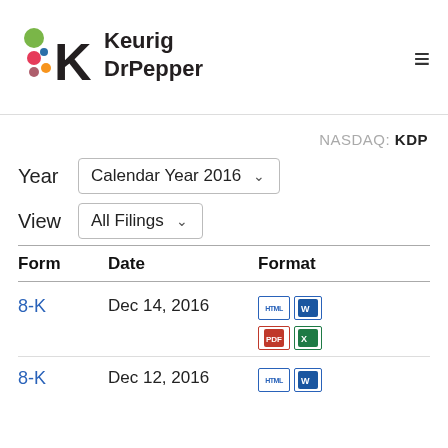[Figure (logo): Keurig Dr Pepper logo with colorful dots and K icon]
NASDAQ: KDP
Year  Calendar Year 2016
View  All Filings
| Form | Date | Format |
| --- | --- | --- |
| 8-K | Dec 14, 2016 | HTML / Word / PDF / Excel |
| 8-K | Dec 12, 2016 | HTML / Word |